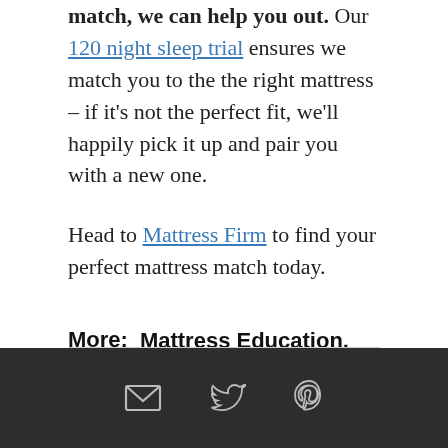match, we can help you out. Our 120 night sleep trial ensures we match you to the the right mattress – if it's not the perfect fit, we'll happily pick it up and pair you with a new one.
Head to Mattress Firm to find your perfect mattress match today.
More: Mattress Education, Mattress Buying Tips
[Figure (other): Footer bar with email, Twitter, and Pinterest icons on dark background]